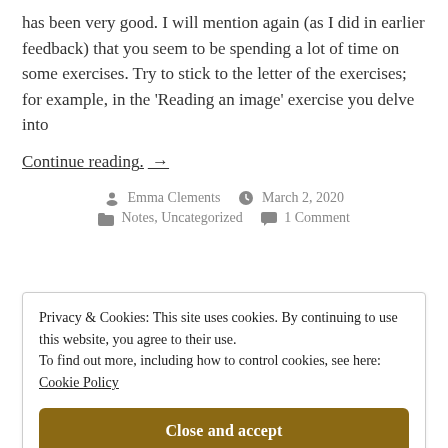has been very good. I will mention again (as I did in earlier feedback) that you seem to be spending a lot of time on some exercises. Try to stick to the letter of the exercises; for example, in the 'Reading an image' exercise you delve into
Continue reading. →
Emma Clements   March 2, 2020   Notes, Uncategorized   1 Comment
Privacy & Cookies: This site uses cookies. By continuing to use this website, you agree to their use.
To find out more, including how to control cookies, see here:
Cookie Policy
Close and accept
when finished a more rounded   book review   Thinking